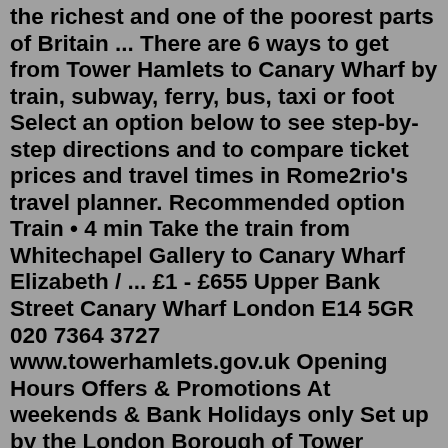the richest and one of the poorest parts of Britain ... There are 6 ways to get from Tower Hamlets to Canary Wharf by train, subway, ferry, bus, taxi or foot Select an option below to see step-by-step directions and to compare ticket prices and travel times in Rome2rio's travel planner. Recommended option Train • 4 min Take the train from Whitechapel Gallery to Canary Wharf Elizabeth / ... £1 - £655 Upper Bank Street Canary Wharf London E14 5GR 020 7364 3727 www.towerhamlets.gov.uk Opening Hours Offers & Promotions At weekends & Bank Holidays only Set up by the London Borough of Tower Hamlets aided by Canary Wharf Group, Workpath provides a free recruitment service for local employers and to residents of Tower Hamlets seeking employment.You are on a page with a charging area for electric cars in the city of London Borough of Tower Hamlets. If you own an electric car in United Kingdom, trust Chargemap to find you the nearest Tower Hamlets/Canary Wharf charging stations for your electric vehicle. Nov 14, 2012 ·